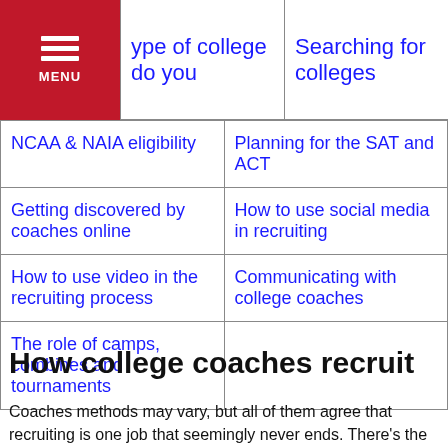ype of college do you | Searching for colleges
| ype of college do you | Searching for colleges |
| NCAA & NAIA eligibility | Planning for the SAT and ACT |
| Getting discovered by coaches online | How to use social media in recruiting |
| How to use video in the recruiting process | Communicating with college coaches |
| The role of camps, combines and tournaments |  |
How college coaches recruit
Coaches methods may vary, but all of them agree that recruiting is one job that seemingly never ends. There's the